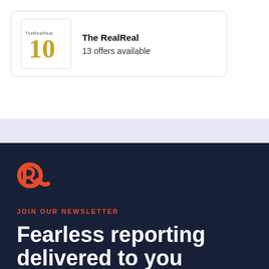[Figure (logo): The RealReal 10th anniversary logo with gold '10' and small text]
The RealReal
13 offers available
[Figure (logo): Rappler orange R logo icon]
JOIN OUR NEWSLETTER
Fearless reporting delivered to you